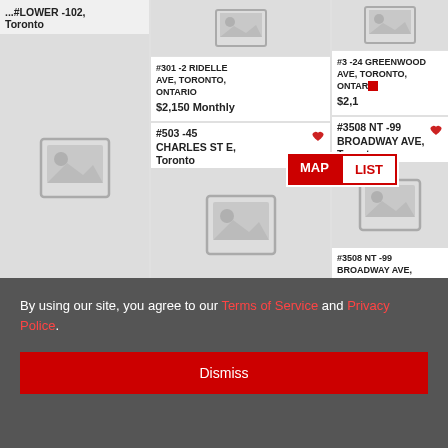#LOWER -102 WANLESS AVE, Toronto (cropped top)
[Figure (screenshot): Rental listing card image placeholder for WANLESS AVE]
#LOWER -102 WANLESS AVE, TORONTO, ONTARIO
[Figure (screenshot): Rental listing card image placeholder - blank/partial]
#301 -2 RIDELLE AVE, TORONTO, ONTARIO
$2,150 Monthly
[Figure (screenshot): Rental listing card image placeholder for #503 -45 CHARLES ST E]
#503 -45 CHARLES ST E, Toronto
#503 -45 CHARLES ST E, TORONTO, ONTARIO
$2,150 Monthly
[Figure (screenshot): Rental listing card image placeholder - partial top]
#3 -24 GREENWOOD AVE, TORONTO, ONTARIO
$2,1... (cropped)
[Figure (screenshot): Rental listing card image placeholder for #3508 NT -99 BROADWAY AVE]
#3508 NT -99 BROADWAY AVE, Toronto
#3508 NT -99 BROADWAY AVE, TORONTO, ONTARIO
$2,150 Monthly
#MAIN -127 (cropped)
By using our site, you agree to our Terms of Service and Privacy Police.
Dismiss